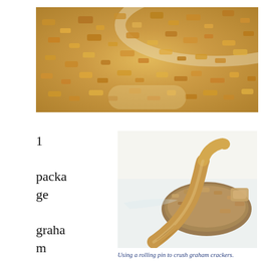[Figure (photo): Close-up photo of crushed golden graham cracker crumbs in a bowl]
1 package graham crackers, plain or
[Figure (photo): Photo of a wooden rolling pin resting on a pile of crushed graham crackers on plastic wrap on a white surface]
Using a rolling pin to crush graham crackers.